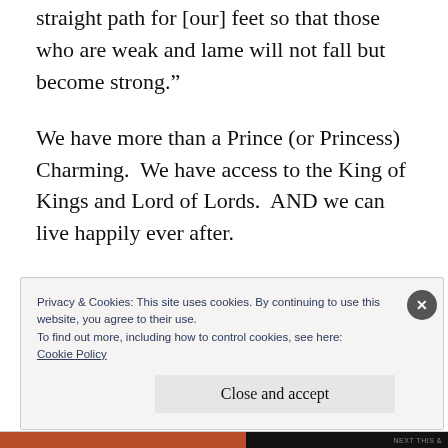straight path for [our] feet so that those who are weak and lame will not fall but become strong.”
We have more than a Prince (or Princess) Charming.  We have access to the King of Kings and Lord of Lords.  AND we can live happily ever after.
Privacy & Cookies: This site uses cookies. By continuing to use this website, you agree to their use.
To find out more, including how to control cookies, see here:
Cookie Policy